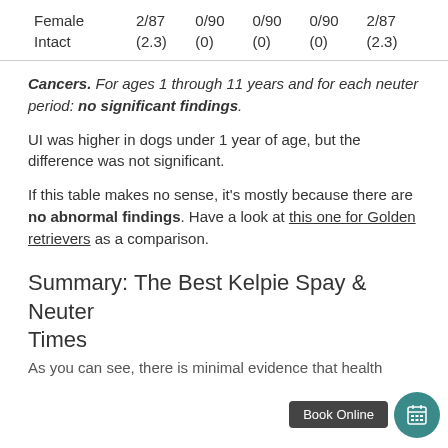| Female Intact | 2/87 (2.3) | 0/90 (0) | 0/90 (0) | 0/90 (0) | 2/87 (2.3) |
Cancers. For ages 1 through 11 years and for each neuter period: no significant findings.
UI was higher in dogs under 1 year of age, but the difference was not significant.
If this table makes no sense, it's mostly because there are no abnormal findings. Have a look at this one for Golden retrievers as a comparison.
Summary: The Best Kelpie Spay & Neuter Times
As you can see, there is minimal evidence that health